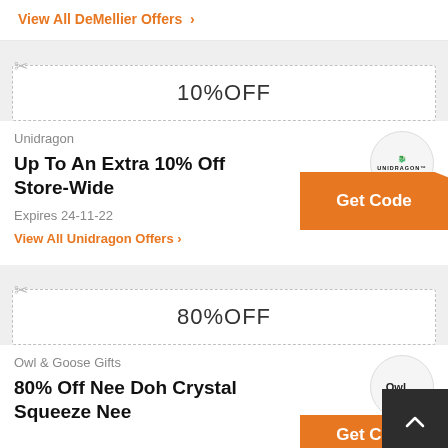View All DeMellier Offers >
10%OFF
Unidragon
Up To An Extra 10% Off Store-Wide
Expires 24-11-22
View All Unidragon Offers >
80%OFF
Owl & Goose Gifts
Owl ...
80% Off Nee Doh Crystal Squeeze Nee